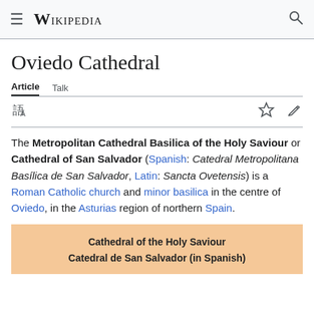Wikipedia
Oviedo Cathedral
Article  Talk
The Metropolitan Cathedral Basilica of the Holy Saviour or Cathedral of San Salvador (Spanish: Catedral Metropolitana Basílica de San Salvador, Latin: Sancta Ovetensis) is a Roman Catholic church and minor basilica in the centre of Oviedo, in the Asturias region of northern Spain.
| Cathedral of the Holy Saviour |
| Catedral de San Salvador (in Spanish) |